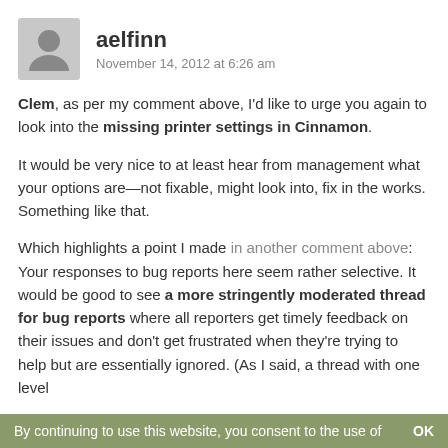[Figure (illustration): Gray avatar silhouette icon of a person]
aelfinn
November 14, 2012 at 6:26 am
Clem, as per my comment above, I'd like to urge you again to look into the missing printer settings in Cinnamon.
It would be very nice to at least hear from management what your options are—not fixable, might look into, fix in the works. Something like that.
Which highlights a point I made in another comment above: Your responses to bug reports here seem rather selective. It would be good to see a more stringently moderated thread for bug reports where all reporters get timely feedback on their issues and don't get frustrated when they're trying to help but are essentially ignored. (As I said, a thread with one level
By continuing to use this website, you consent to the use of    OK